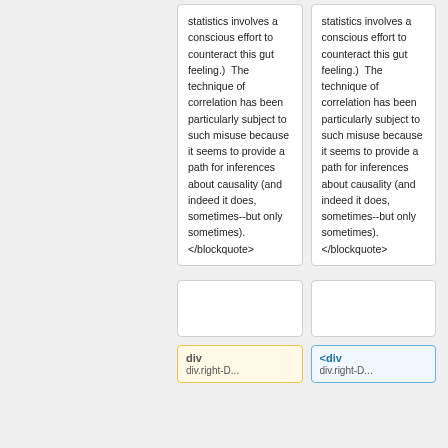statistics involves a conscious effort to counteract this gut feeling.)  The technique of correlation has been particularly subject to such misuse because it seems to provide a path for inferences about causality (and indeed it does, sometimes--but only sometimes). </blockquote>
statistics involves a conscious effort to counteract this gut feeling.)  The technique of correlation has been particularly subject to such misuse because it seems to provide a path for inferences about causality (and indeed it does, sometimes--but only sometimes). </blockquote>
div
<div